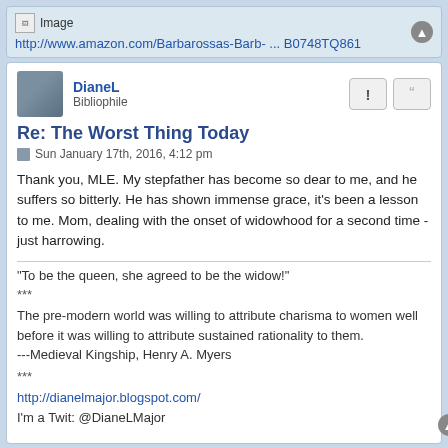[Figure (other): Image placeholder icon with label 'Image']
http://www.amazon.com/Barbarossas-Barb- ... B0748TQ861
DianeL
Bibliophile
Re: The Worst Thing Today
Sun January 17th, 2016, 4:12 pm
Thank you, MLE. My stepfather has become so dear to me, and he suffers so bitterly. He has shown immense grace, it's been a lesson to me. Mom, dealing with the onset of widowhood for a second time - just harrowing.
"To be the queen, she agreed to be the widow!"
***
The pre-modern world was willing to attribute charisma to women well before it was willing to attribute sustained rationality to them.
---Medieval Kingship, Henry A. Myers
***
http://dianelmajor.blogspot.com/
I'm a Twit: @DianeLMajor